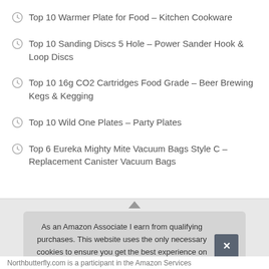Top 10 Warmer Plate for Food – Kitchen Cookware
Top 10 Sanding Discs 5 Hole – Power Sander Hook & Loop Discs
Top 10 16g CO2 Cartridges Food Grade – Beer Brewing Kegs & Kegging
Top 10 Wild One Plates – Party Plates
Top 6 Eureka Mighty Mite Vacuum Bags Style C – Replacement Canister Vacuum Bags
As an Amazon Associate I earn from qualifying purchases. This website uses the only necessary cookies to ensure you get the best experience on our website. More information
Northbutterfly.com is a participant in the Amazon Services